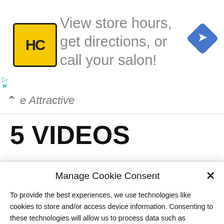[Figure (infographic): Advertisement banner with HC logo in yellow square, text 'View store hours, get directions, or call your salon!' and a blue diamond navigation icon on the right. Small close controls (arrow and X) on the left below the banner.]
e Attractive
5 VIDEOS
Manage Cookie Consent
To provide the best experiences, we use technologies like cookies to store and/or access device information. Consenting to these technologies will allow us to process data such as browsing behavior or unique IDs on this site. Not consenting or withdrawing consent, may adversely affect certain features and functions.
Accept
Cookie Policy